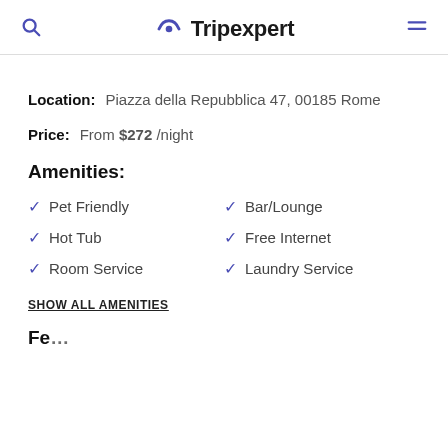Tripexpert
Location: Piazza della Repubblica 47, 00185 Rome
Price: From $272 /night
Amenities:
Pet Friendly
Bar/Lounge
Hot Tub
Free Internet
Room Service
Laundry Service
SHOW ALL AMENITIES